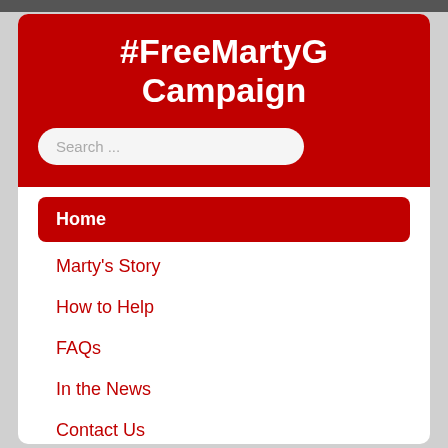#FreeMartyG Campaign
Home
Marty's Story
How to Help
FAQs
In the News
Contact Us
Donate
SiteMap